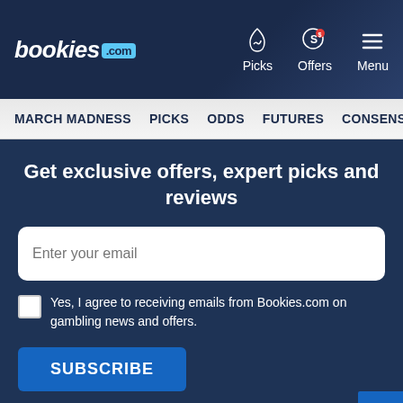[Figure (logo): bookies.com logo with white italic text and blue .com badge]
[Figure (infographic): Navigation icons: Picks (fire icon), Offers (coin with S icon), Menu (hamburger icon)]
MARCH MADNESS  PICKS  ODDS  FUTURES  CONSENSUS  SC
Get exclusive offers, expert picks and reviews
Enter your email
Yes, I agree to receiving emails from Bookies.com on gambling news and offers.
SUBSCRIBE
[Figure (infographic): Social media icons: Facebook, Twitter, Instagram, YouTube]